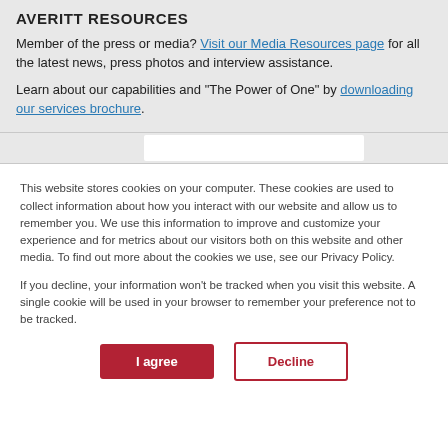AVERITT RESOURCES
Member of the press or media? Visit our Media Resources page for all the latest news, press photos and interview assistance.
Learn about our capabilities and "The Power of One" by downloading our services brochure.
This website stores cookies on your computer. These cookies are used to collect information about how you interact with our website and allow us to remember you. We use this information to improve and customize your experience and for metrics about our visitors both on this website and other media. To find out more about the cookies we use, see our Privacy Policy.
If you decline, your information won't be tracked when you visit this website. A single cookie will be used in your browser to remember your preference not to be tracked.